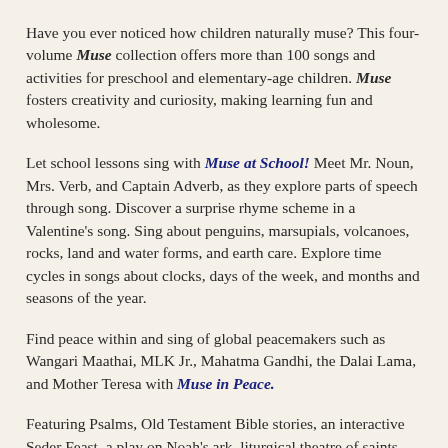Have you ever noticed how children naturally muse? This four-volume Muse collection offers more than 100 songs and activities for preschool and elementary-age children. Muse fosters creativity and curiosity, making learning fun and wholesome.
Let school lessons sing with Muse at School! Meet Mr. Noun, Mrs. Verb, and Captain Adverb, as they explore parts of speech through song. Discover a surprise rhyme scheme in a Valentine's song. Sing about penguins, marsupials, volcanoes, rocks, land and water forms, and earth care. Explore time cycles in songs about clocks, days of the week, and months and seasons of the year.
Find peace within and sing of global peacemakers such as Wangari Maathai, MLK Jr., Mahatma Gandhi, the Dalai Lama, and Mother Teresa with Muse in Peace.
Featuring Psalms, Old Testament Bible stories, an interactive Seder Feast, a play on Noah's ark, liturgical theatre of saints